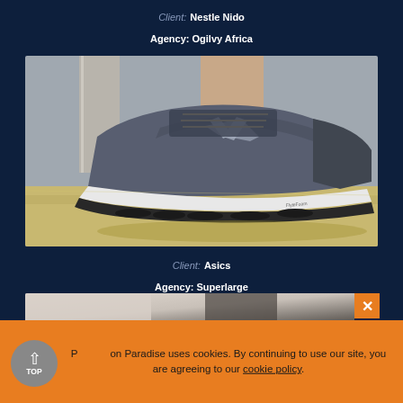Client: Nestle Nido
Agency: Ogilvy Africa
Director: Babar N. Sheikh
[Figure (photo): Close-up photo of an ASICS running shoe (gray/silver), photographed at ground level on a sandy/concrete surface with pillars in the background.]
Client: Asics
Agency: Superlarge
[Figure (photo): Partial view of a second product/person photo, mostly cropped out by cookie banner.]
P[artial text obscured] on Paradise uses cookies. By continuing to use our site, you are agreeing to our cookie policy.